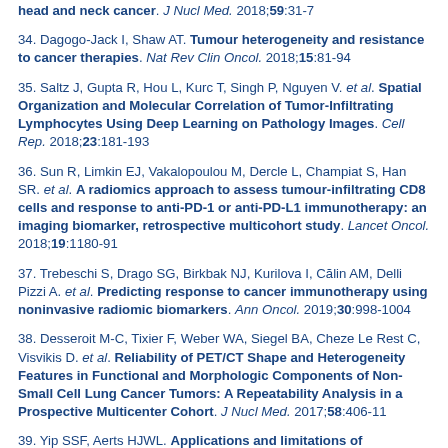head and neck cancer. J Nucl Med. 2018;59:31-7
34. Dagogo-Jack I, Shaw AT. Tumour heterogeneity and resistance to cancer therapies. Nat Rev Clin Oncol. 2018;15:81-94
35. Saltz J, Gupta R, Hou L, Kurc T, Singh P, Nguyen V. et al. Spatial Organization and Molecular Correlation of Tumor-Infiltrating Lymphocytes Using Deep Learning on Pathology Images. Cell Rep. 2018;23:181-193
36. Sun R, Limkin EJ, Vakalopoulou M, Dercle L, Champiat S, Han SR. et al. A radiomics approach to assess tumour-infiltrating CD8 cells and response to anti-PD-1 or anti-PD-L1 immunotherapy: an imaging biomarker, retrospective multicohort study. Lancet Oncol. 2018;19:1180-91
37. Trebeschi S, Drago SG, Birkbak NJ, Kurilova I, Călin AM, Delli Pizzi A. et al. Predicting response to cancer immunotherapy using noninvasive radiomic biomarkers. Ann Oncol. 2019;30:998-1004
38. Desseroit M-C, Tixier F, Weber WA, Siegel BA, Cheze Le Rest C, Visvikis D. et al. Reliability of PET/CT Shape and Heterogeneity Features in Functional and Morphologic Components of Non-Small Cell Lung Cancer Tumors: A Repeatability Analysis in a Prospective Multicenter Cohort. J Nucl Med. 2017;58:406-11
39. Yip SSF, Aerts HJWL. Applications and limitations of radiomics. Phys Med Biol. 2016;61:R150-66
40. Cabitza F, Rasoini R, Gensini GF. Unintended consequences of machine learning in medicine. JAMA. 2017;318:517-8